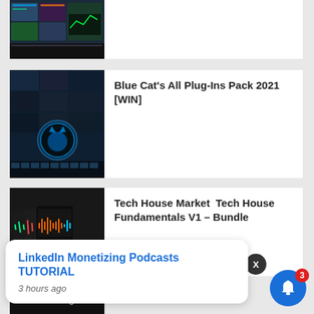[Figure (screenshot): Partial top card showing audio plugin interface screenshot]
[Figure (screenshot): Blue Cat audio plugin interface with cat logo on dark background]
Blue Cat's All Plug-Ins Pack 2021 [WIN]
[Figure (photo): Tech House Market Tech House Fundamentals V1 product box set on dark background]
Tech House Market  Tech House Fundamentals V1 – Bundle
[Figure (screenshot): Notification popup: LinkedIn Monetizing Podcasts TUTORIAL, 3 hours ago]
LinkedIn Monetizing Podcasts TUTORIAL
3 hours ago
Loading ...
3